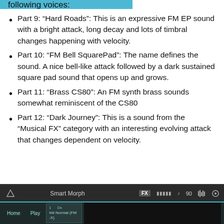following voices:
Part 9: “Hard Roads”: This is an expressive FM EP sound with a bright attack, long decay and lots of timbral changes happening with velocity.
Part 10: “FM Bell SquarePad”: The name defines the sound. A nice bell-like attack followed by a dark sustained square pad sound that opens up and grows.
Part 11: “Brass CS80”: An FM synth brass sounds somewhat reminiscent of the CS80
Part 12: “Dark Journey”: This is a sound from the “Musical FX” category with an interesting evolving attack that changes dependent on velocity.
[Figure (screenshot): Screenshot of Smart Morph software interface showing home bar with FX button, level meters, tempo 90 BPM, and bottom panel with Home, Play buttons and Init Normal (FM -X) preset display]